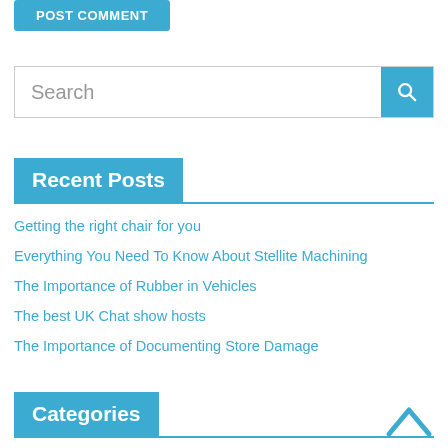[Figure (other): POST COMMENT button (teal/blue rounded rectangle)]
[Figure (other): Search bar with teal search button and magnifying glass icon]
Recent Posts
Getting the right chair for you
Everything You Need To Know About Stellite Machining
The Importance of Rubber in Vehicles
The best UK Chat show hosts
The Importance of Documenting Store Damage
Categories